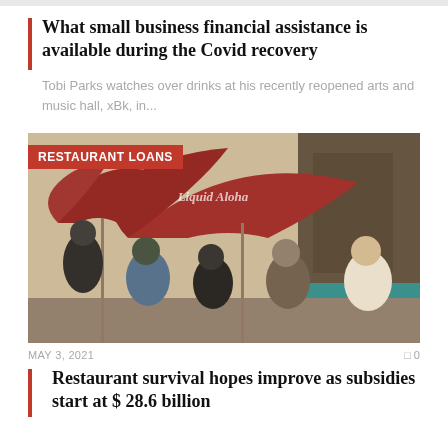What small business financial assistance is available during the Covid recovery
Tobi Parks watches over drinks at his recently reopened arts and music hall, xBk, in...
[Figure (photo): Outdoor restaurant/bar scene with people gathered under red umbrellas branded 'Liquid Aloha'. Red badge overlay reads 'RESTAURANT LOANS'.]
MAY 3, 2021     0
Restaurant survival hopes improve as subsidies start at $ 28.6 billion